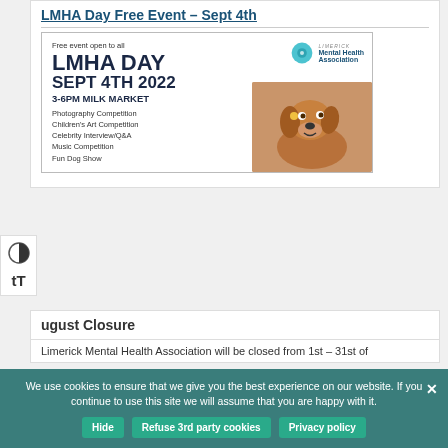LMHA Day Free Event – Sept 4th
[Figure (infographic): LMHA Day event flyer. Free event open to all. LMHA DAY SEPT 4TH 2022 3-6PM MILK MARKET. Activities: Photography Competition, Children's Art Competition, Celebrity Interview/Q&A, Music Competition, Fun Dog Show. Limerick Mental Health Association logo and photo of a dog.]
August Closure
Limerick Mental Health Association will be closed from 1st – 31st of
We use cookies to ensure that we give you the best experience on our website. If you continue to use this site we will assume that you are happy with it.